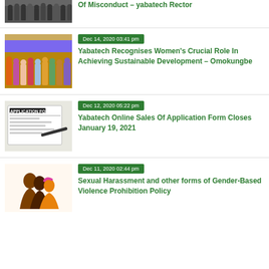[Figure (photo): Group photo of people standing together, partially cropped at top]
Of Misconduct – yabatech Rector
[Figure (photo): Group photo of women in colorful attire at an event]
Dec 14, 2020 03:41 pm
Yabatech Recognises Women's Crucial Role In Achieving Sustainable Development – Omokungbe
[Figure (photo): Image of an application form with a pen]
Dec 12, 2020 05:22 pm
Yabatech Online Sales Of Application Form Closes January 19, 2021
[Figure (illustration): Illustration of three women silhouettes in profile]
Dec 11, 2020 02:44 pm
Sexual Harassment and other forms of Gender-Based Violence Prohibition Policy